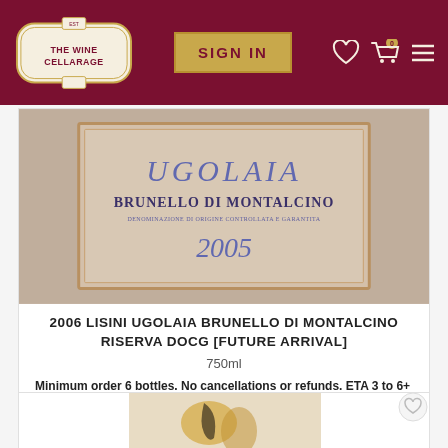THE WINE CELLARAGE — SIGN IN
[Figure (photo): Wine bottle label for Ugolaia Brunello di Montalcino 2005, with blue/purple text on a beige background with gold border]
2006 LISINI UGOLAIA BRUNELLO DI MONTALCINO RISERVA DOCG [FUTURE ARRIVAL]
750ml
Minimum order 6 bottles. No cancellations or refunds. ETA 3 to 6+ months. Due to global transportation delays, the ETA may change.
$136.00   24 Available
ADD TO CART
[Figure (photo): Partial view of a second wine label with artistic illustration, partially visible at bottom of page]